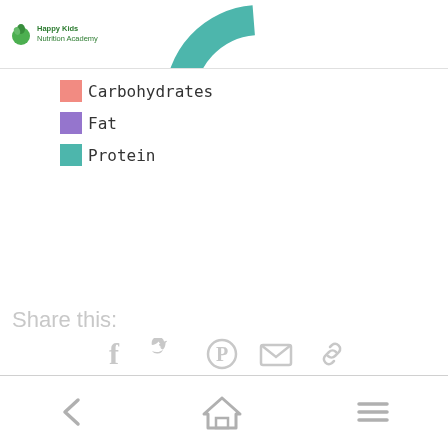Happy Kids Nutrition Academy
[Figure (donut-chart): Partial donut/pie chart visible at top center of page, showing nutrition breakdown with salmon/pink color visible]
[Figure (infographic): Legend showing three items: Carbohydrates (salmon/coral square), Fat (medium purple/lavender square), Protein (teal/mint square)]
Share this:
[Figure (infographic): Social share icons: Facebook, Twitter, Pinterest, Email (envelope), Link/chain]
Navigation bar with back arrow, home icon, and menu (hamburger) icon